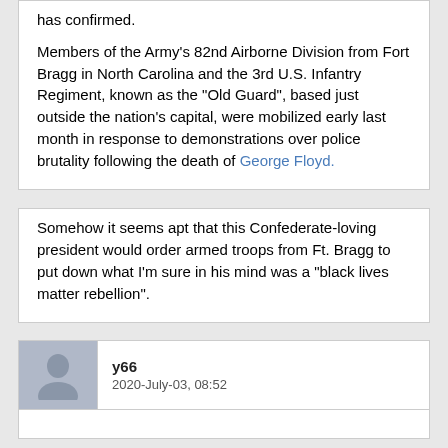has confirmed.

Members of the Army's 82nd Airborne Division from Fort Bragg in North Carolina and the 3rd U.S. Infantry Regiment, known as the "Old Guard", based just outside the nation's capital, were mobilized early last month in response to demonstrations over police brutality following the death of George Floyd.
Somehow it seems apt that this Confederate-loving president would order armed troops from Ft. Bragg to put down what I'm sure in his mind was a "black lives matter rebellion".
y66
2020-July-03, 08:52